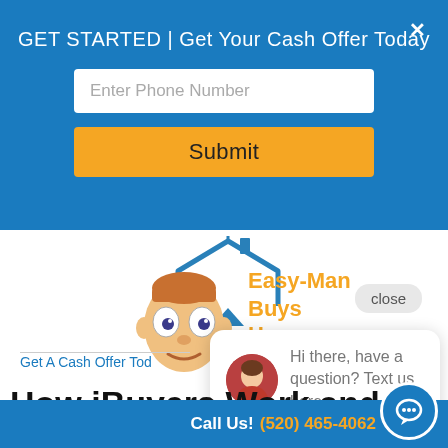GET STARTED | Get Your Cash Offer Today
Enter Phone Number
Submit
[Figure (logo): Easy-Man Buys Houses logo with house outline and cartoon face character]
close
Hi there, have a question? Text us here.
Get A Cash Offer Tod
How iBuyers Work and W
Call Us! (520) 465-4062